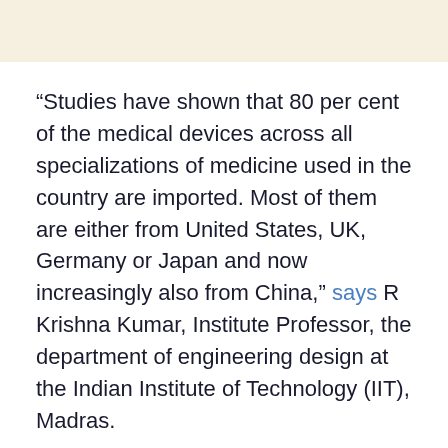“Studies have shown that 80 per cent of the medical devices across all specializations of medicine used in the country are imported. Most of them are either from United States, UK, Germany or Japan and now increasingly also from China,” says R Krishna Kumar, Institute Professor, the department of engineering design at the Indian Institute of Technology (IIT), Madras.
Government’s initiatives to develop indigenous medical equipment